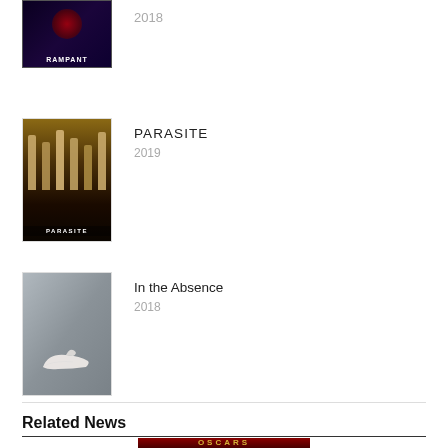[Figure (photo): Partial movie poster for Rampant (2018) with dark purple/black background and 'RAMPANT' text at bottom]
2018
[Figure (photo): Movie poster for Parasite (2019) showing group of people in formal attire, dark brownish background with 'PARASITE' text at bottom]
PARASITE
2019
[Figure (photo): Movie poster for In the Absence (2018) showing a white sneaker/shoe on a grey background]
In the Absence
2018
Related News
[Figure (photo): Partial Oscars logo/banner image with gold text on dark red/maroon background]